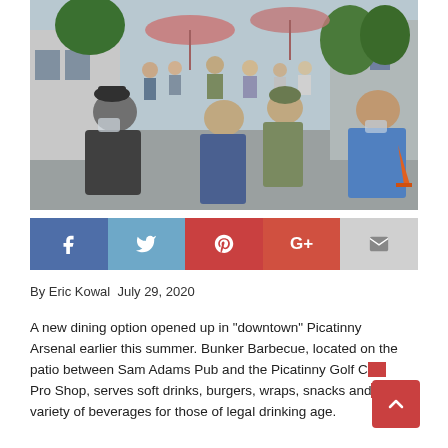[Figure (photo): Outdoor scene showing people standing in a line/crowd in a parking lot area outside a building with pink umbrellas and trees. People are wearing casual and military attire, some wearing masks. Sunny summer day.]
[Figure (infographic): Social media sharing bar with five buttons: Facebook (blue, f icon), Twitter (light blue, bird icon), Pinterest (red, P icon), Google+ (red-orange, G+ icon), Email (gray, envelope icon)]
By Eric Kowal July 29, 2020
A new dining option opened up in “downtown” Picatinny Arsenal earlier this summer. Bunker Barbecue, located on the patio between Sam Adams Pub and the Picatinny Golf Club Pro Shop, serves soft drinks, burgers, wraps, snacks and a variety of beverages for those of legal drinking age.